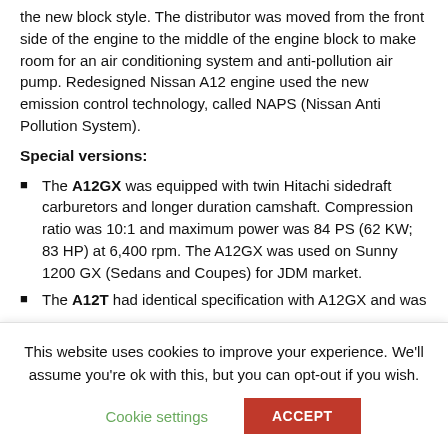the new block style. The distributor was moved from the front side of the engine to the middle of the engine block to make room for an air conditioning system and anti-pollution air pump. Redesigned Nissan A12 engine used the new emission control technology, called NAPS (Nissan Anti Pollution System).
Special versions:
The A12GX was equipped with twin Hitachi sidedraft carburetors and longer duration camshaft. Compression ratio was 10:1 and maximum power was 84 PS (62 KW; 83 HP) at 6,400 rpm. The A12GX was used on Sunny 1200 GX (Sedans and Coupes) for JDM market.
The A12T had identical specification with A12GX and was
This website uses cookies to improve your experience. We'll assume you're ok with this, but you can opt-out if you wish.